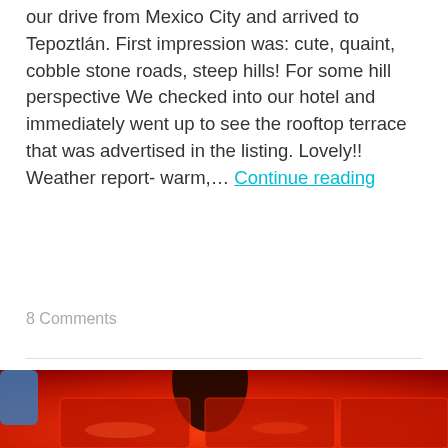our drive from Mexico City and arrived to Tepoztlán. First impression was: cute, quaint, cobble stone roads, steep hills! For some hill perspective We checked into our hotel and immediately went up to see the rooftop terrace that was advertised in the listing. Lovely!! Weather report- warm,... Continue reading
8 Comments
[Figure (photo): Photo with red/orange lighting showing dark silhouetted objects, possibly food items in red plastic trays or containers, with a blue object visible on the left side]